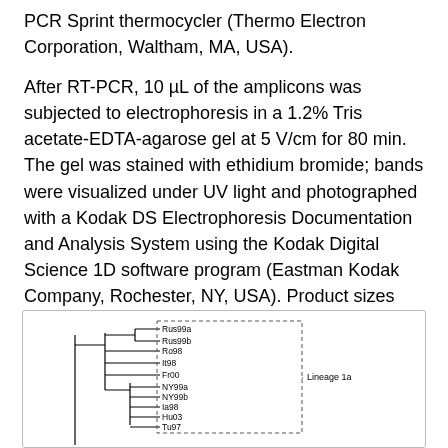PCR Sprint thermocycler (Thermo Electron Corporation, Waltham, MA, USA).
After RT-PCR, 10 µL of the amplicons was subjected to electrophoresis in a 1.2% Tris acetate-EDTA-agarose gel at 5 V/cm for 80 min. The gel was stained with ethidium bromide; bands were visualized under UV light and photographed with a Kodak DS Electrophoresis Documentation and Analysis System using the Kodak Digital Science 1D software program (Eastman Kodak Company, Rochester, NY, USA). Product sizes were determined with reference to a 100-bp DNA ladder (Promega).
[Figure (other): Phylogenetic tree showing lineage groupings. A dashed rectangle encloses a clade labeled 'Lineage 1a' containing multiple strains: Rus99a, Rus99b, Ro98, It98, Fr00, NY99a, NY99b, Ia98, Hu03, Tu97.]